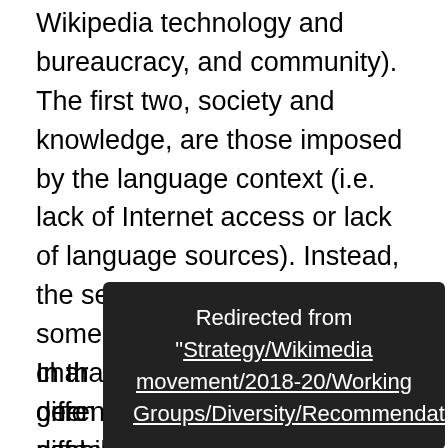Wikipedia technology and bureaucracy, and community). The first two, society and knowledge, are those imposed by the language context (i.e. lack of Internet access or lack of language sources). Instead, the second two are related to some of the sociotechnical characteristics, which may be gerenal findings (i.e. lack of usability), not be suited to that environment (i.e. lack of policies enabling certain kinds of contents), etc. It is obvious that the contextual barriers come before the Wikipedia ones, but it is hard to assess the impact each of them has in each environment. The more barriers identified, the better in order to overcome them and get more editors to final contribute to the project.
In th... orien... diffe... context content. Hence, in the diagram we see that (A)
[Figure (other): Tooltip/popup overlay box with dark background showing text: Redirected from "Strategy/Wikimedia movement/2018-20/Working Groups/Diversity/Recommendations/5"]